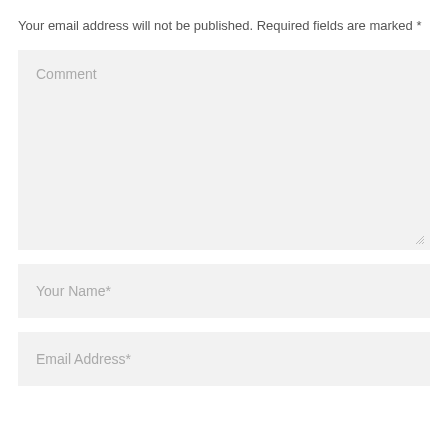Your email address will not be published. Required fields are marked *
Comment
Your Name*
Email Address*